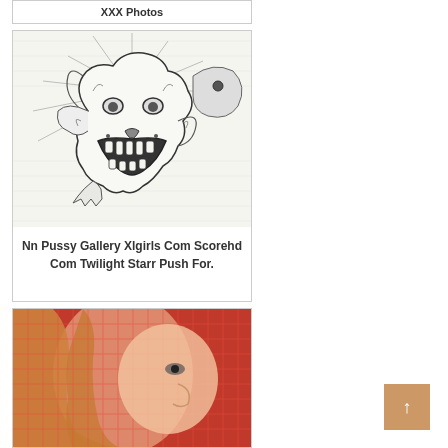XXX Photos
[Figure (illustration): Hand-drawn sketch illustration of a roaring lion or wolf head with sharp teeth, black ink on white background]
Nn Pussy Gallery Xlgirls Com Scorehd Com Twilight Starr Push For.
[Figure (photo): Close-up photo of a blonde woman in a red mesh top, profile view]